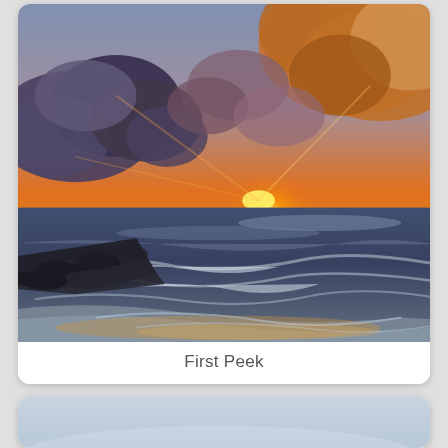[Figure (photo): Sunset beach photo titled 'First Peek'. Shows a dramatic coastal sunrise/sunset scene with orange and golden light breaking through dark storm clouds on the horizon. Rocky jetty visible on the left, ocean waves washing up on sandy beach in the foreground. Sky is a mix of blue-grey and warm orange tones.]
First Peek
[Figure (photo): Partial view of a second photo card at the bottom of the page showing a light blue-grey coastal or sky scene, mostly cut off.]